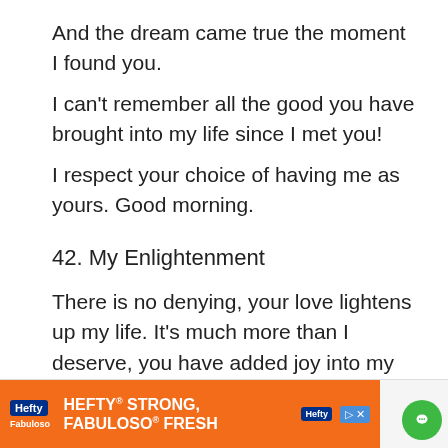And the dream came true the moment I found you.
I can't remember all the good you have brought into my life since I met you!
I respect your choice of having me as yours. Good morning.
42. My Enlightenment
There is no denying, your love lightens up my life. It's much more than I deserve, you have added joy into my life!
That I see everything going great and lovely,
Is all because I am with you my love.
And like every other day, I wish you a good mor…
[Figure (other): Advertisement banner for Hefty brand: 'HEFTY STRONG, FABULOSO FRESH' with orange background and Hefty/Fabuloso logos]